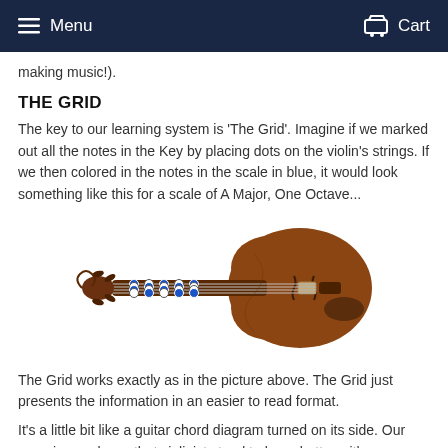Menu  Cart
making music!).
THE GRID
The key to our learning system is 'The Grid'. Imagine if we marked out all the notes in the Key by placing dots on the violin's strings. If we then colored in the notes in the scale in blue, it would look something like this for a scale of A Major, One Octave...
[Figure (photo): A violin viewed from above, with colored dots (blue and white) placed on the strings near the neck/fingerboard area, illustrating 'The Grid' learning system for A Major scale, One Octave.]
The Grid works exactly as in the picture above. The Grid just presents the information in an easier to read format.
It's a little bit like a guitar chord diagram turned on its side. Our experience shows that violinists tend to learn better with